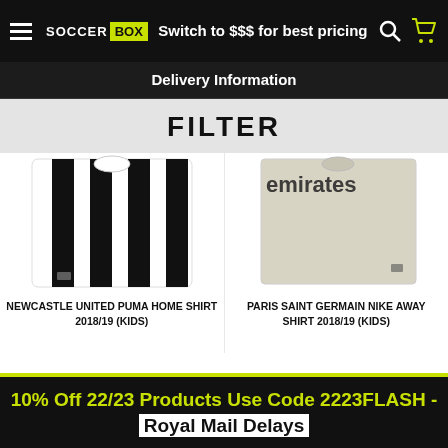Switch to $$$ for best pricing
Delivery Information
FILTER
[Figure (photo): Newcastle United Puma Home Shirt 2018/19 (Kids) - black and white vertical stripes]
[Figure (photo): Paris Saint Germain Nike Away Shirt 2018/19 (Kids) - cream/white shirt with Emirates text]
NEWCASTLE UNITED PUMA HOME SHIRT 2018/19 (KIDS)
PARIS SAINT GERMAIN NIKE AWAY SHIRT 2018/19 (KIDS)
10% Off 22/23 Products Use Code 2223FLASH - Royal Mail Delays